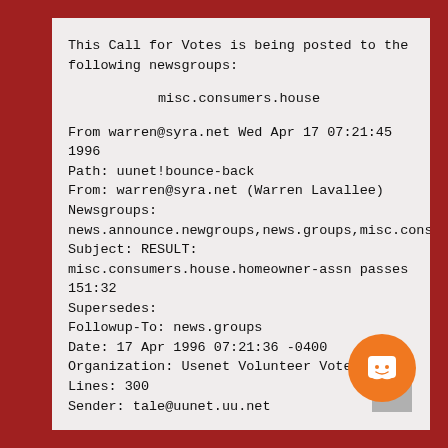This Call for Votes is being posted to the following newsgroups:
misc.consumers.house
From warren@syra.net Wed Apr 17 07:21:45 1996
Path: uunet!bounce-back
From: warren@syra.net (Warren Lavallee)
Newsgroups:
news.announce.newgroups,news.groups,misc.consume
Subject: RESULT:
misc.consumers.house.homeowner-assn passes
151:32
Supersedes:
Followup-To: news.groups
Date: 17 Apr 1996 07:21:36 -0400
Organization: Usenet Volunteer Votetakers
Lines: 300
Sender: tale@uunet.uu.net